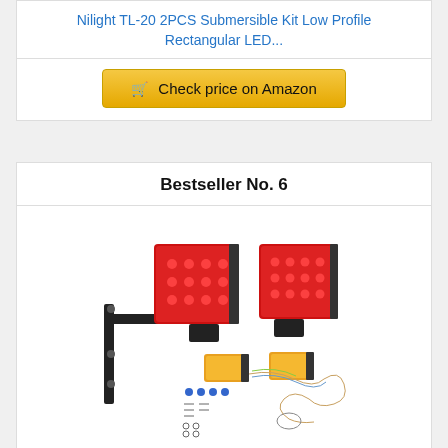Nilight TL-20 2PCS Submersible Kit Low Profile Rectangular LED...
Check price on Amazon
Bestseller No. 6
[Figure (photo): Product photo of CZC AUTO trailer tail light kit showing two red square LED tail lights, two amber side marker lights, a mounting bracket, wiring harness, and hardware]
CZC AUTO 12V Submersible LED Trailer Tail Light Kit for